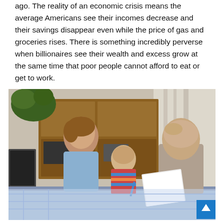ago. The reality of an economic crisis means the average Americans see their incomes decrease and their savings disappear even while the price of gas and groceries rises. There is something incredibly perverse when billionaires see their wealth and excess grow at the same time that poor people cannot afford to eat or get to work.
[Figure (photo): A family (woman, young child, and man) sitting at a table looking stressed and reviewing financial documents. The man has his hand on his forehead in a worried pose.]